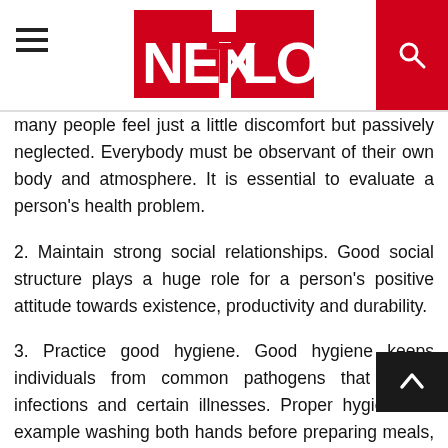NEXTLOL (logo header with navigation)
many people feel just a little discomfort but passively neglected. Everybody must be observant of their own body and atmosphere. It is essential to evaluate a person's health problem.
2. Maintain strong social relationships. Good social structure plays a huge role for a person's positive attitude towards existence, productivity and durability.
3. Practice good hygiene. Good hygiene keeps individuals from common pathogens that create infections and certain illnesses. Proper hygiene for example washing both hands before preparing meals, pre and post eating achieves this much favor to improve your health.
4. Apply stress management. It is essential to know your stress levels stimuli. Whenever possible try staying away from stuff that stress you most and take a moment to unwind. Other